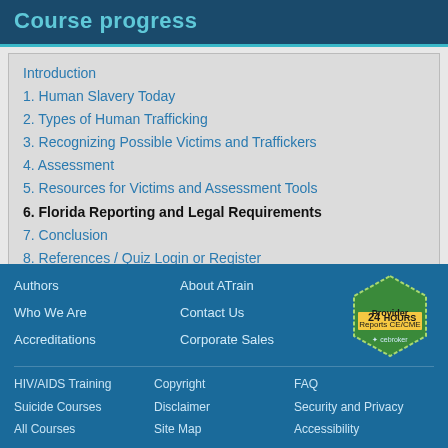Course progress
Introduction
1. Human Slavery Today
2. Types of Human Trafficking
3. Recognizing Possible Victims and Traffickers
4. Assessment
5. Resources for Victims and Assessment Tools
6. Florida Reporting and Legal Requirements
7. Conclusion
8. References / Quiz Login or Register
Authors | Who We Are | Accreditations | About ATrain | Contact Us | Corporate Sales | HIV/AIDS Training | Suicide Courses | All Courses | Copyright | Disclaimer | Site Map | FAQ | Security and Privacy | Accessibility